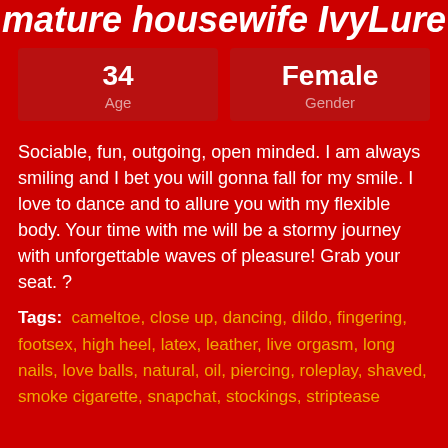mature housewife IvyLure
| Age | Gender |
| --- | --- |
| 34 | Female |
Sociable, fun, outgoing, open minded. I am always smiling and I bet you will gonna fall for my smile. I love to dance and to allure you with my flexible body. Your time with me will be a stormy journey with unforgettable waves of pleasure! Grab your seat. ?
Tags: cameltoe, close up, dancing, dildo, fingering, footsex, high heel, latex, leather, live orgasm, long nails, love balls, natural, oil, piercing, roleplay, shaved, smoke cigarette, snapchat, stockings, striptease